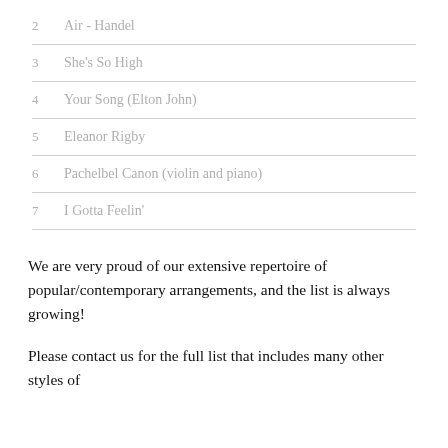2   Air - Handel
3   She's So High
4   Your Song (Elton John)
5   Eleanor Rigby
6   Pachelbel Canon (violin and piano)
7   I Gotta Feelin'
We are very proud of our extensive repertoire of popular/contemporary arrangements, and the list is always growing!
Please contact us for the full list that includes many other styles of